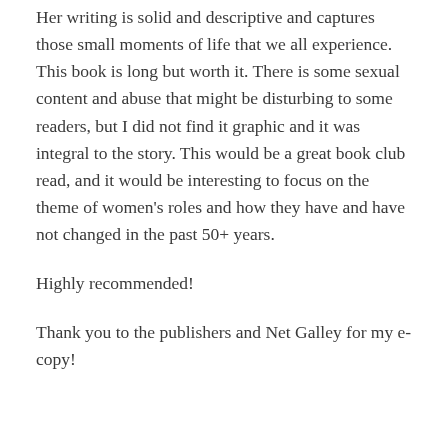Her writing is solid and descriptive and captures those small moments of life that we all experience. This book is long but worth it. There is some sexual content and abuse that might be disturbing to some readers, but I did not find it graphic and it was integral to the story. This would be a great book club read, and it would be interesting to focus on the theme of women's roles and how they have and have not changed in the past 50+ years.
Highly recommended!
Thank you to the publishers and Net Galley for my e-copy!